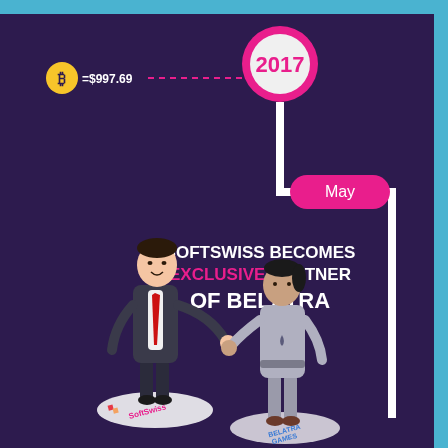[Figure (infographic): Infographic with dark purple background. Top section shows Bitcoin symbol with '=$997.69' connected by dashed line to a pink circle with '2017' text. A timeline line drops down and connects to a pink pill-shaped label reading 'May'. Main text reads 'SOFTSWISS BECOMES EXCLUSIVE PARTNER OF BELATRA'. Bottom shows two illustrated figures shaking hands — one male in dark suit with red tie standing on SoftSwiss logo disc, one female in grey outfit standing on Belatra Games logo disc.]